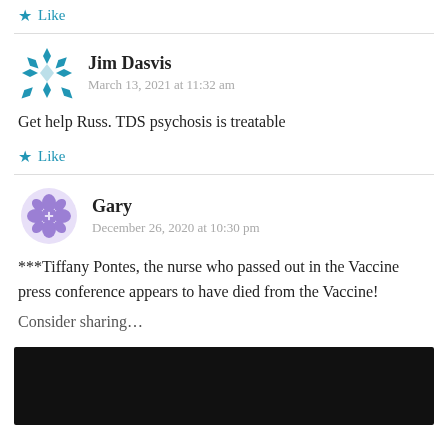Like
Jim Dasvis
March 13, 2021 at 11:32 am
Get help Russ. TDS psychosis is treatable
Like
Gary
December 26, 2020 at 10:30 pm
***Tiffany Pontes, the nurse who passed out in the Vaccine press conference appears to have died from the Vaccine!
Consider sharing...
[Figure (screenshot): Dark/black video embed area]